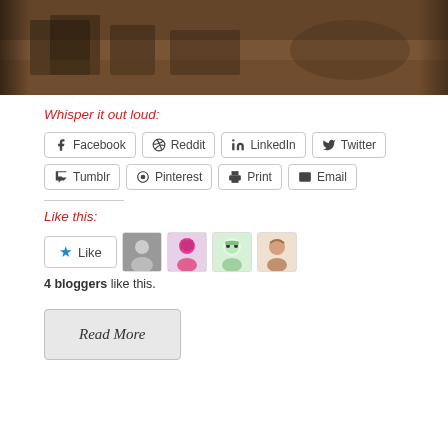[Figure (photo): Partial photograph showing a dark interior scene with brown/reddish earthen tones, boxes or crates visible in the background.]
Whisper it out loud:
Facebook Reddit LinkedIn Twitter Tumblr Pinterest Print Email (social share buttons)
Like this:
4 bloggers like this.
Read More